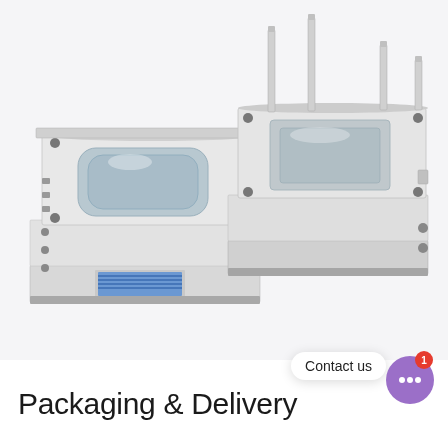[Figure (photo): Two injection mold tooling assemblies shown on a white background. The left mold shows the top cavity half with a recessed product shape and blue coil springs visible at the base. The right mold shows the core half with four metal guide pins/ejector rods protruding upward. Both molds are made of polished steel with machined surfaces.]
Packaging & Delivery